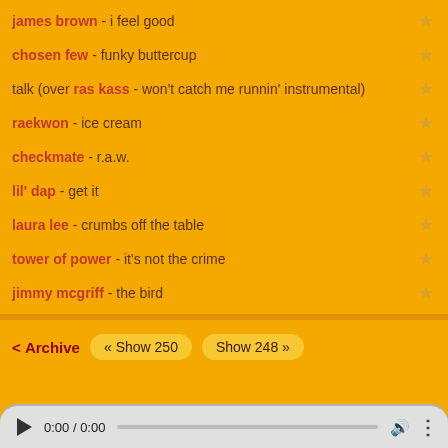james brown - i feel good
chosen few - funky buttercup
talk (over ras kass - won't catch me runnin' instrumental)
raekwon - ice cream
checkmate - r.a.w.
lil' dap - get it
laura lee - crumbs off the table
tower of power - it's not the crime
jimmy mcgriff - the bird
< Archive  « Show 250  Show 248 »